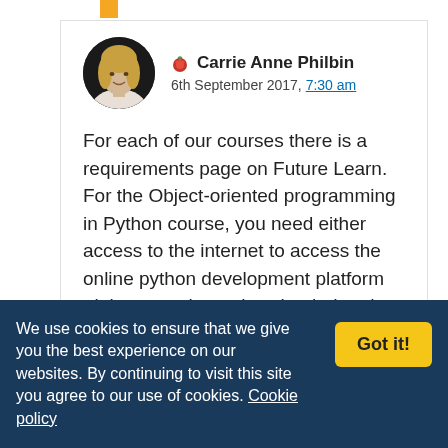[Figure (photo): Circular profile photo of Carrie Anne Philbin, a woman with blonde hair]
🍓 Carrie Anne Philbin
6th September 2017, 7:30 am
For each of our courses there is a requirements page on Future Learn. For the Object-oriented programming in Python course, you need either access to the internet to access the online python development platform trinket, or to have downloaded and installed Python 3 on the computer you are using.
We use cookies to ensure that we give you the best experience on our websites. By continuing to visit this site you agree to our use of cookies. Cookie policy